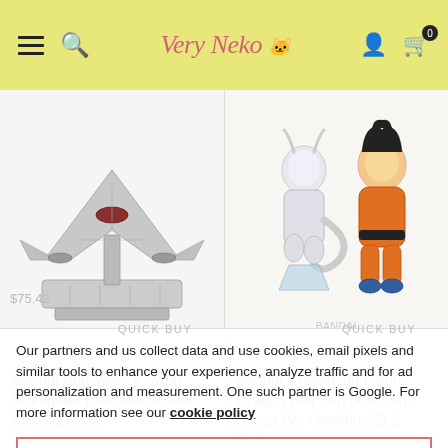Very Neko — navigation header with hamburger menu, search, logo, user icon, cart (0)
[Figure (photo): Bandai Star Wars A-Wing Starfighter Buildable Model Kit 1:72 Scale product image — gray spacecraft model on a stand above a detailed diorama base]
Bandai Star Wars A-Wing Starfighter Buildable Model Kit 1:72 Scale
[Figure (photo): Bandai Ichibansho Figure Dragon Ball Son Goku And Frieza (Vs Omnibus Z) 2 Pack product image — Goku in orange gi and Frieza in white, action poses]
Bandai Ichibansho Figure Dragon Ball Son Goku And Frieza (Vs Omnibus Z) 2 Pack
Our partners and us collect data and use cookies, email pixels and similar tools to enhance your experience, analyze traffic and for ad personalization and measurement. One such partner is Google. For more information see our cookie policy
ACCEPT